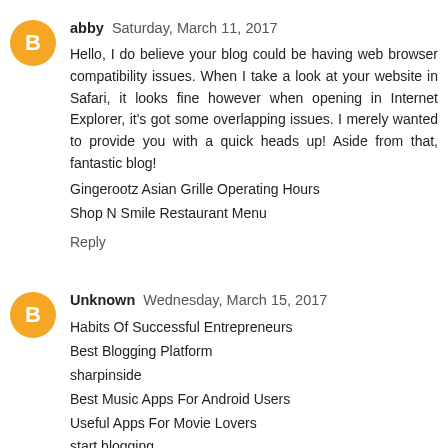abby  Saturday, March 11, 2017
Hello, I do believe your blog could be having web browser compatibility issues. When I take a look at your website in Safari, it looks fine however when opening in Internet Explorer, it's got some overlapping issues. I merely wanted to provide you with a quick heads up! Aside from that, fantastic blog!
Gingerootz Asian Grille Operating Hours
Shop N Smile Restaurant Menu
Reply
Unknown  Wednesday, March 15, 2017
Habits Of Successful Entrepreneurs
Best Blogging Platform
sharpinside
Best Music Apps For Android Users
Useful Apps For Movie Lovers
start blogging